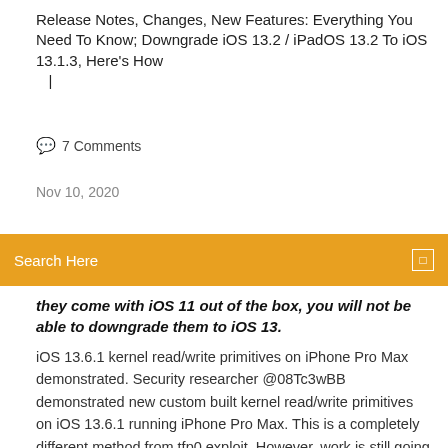Release Notes, Changes, New Features: Everything You Need To Know; Downgrade iOS 13.2 / iPadOS 13.2 To iOS 13.1.3, Here's How |
🗨 7 Comments
Nov 10, 2020
Search Here
they come with iOS 11 out of the box, you will not be able to downgrade them to iOS 13.
iOS 13.6.1 kernel read/write primitives on iPhone Pro Max demonstrated. Security researcher @08Tc3wBB demonstrated new custom built kernel read/write primitives on iOS 13.6.1 running iPhone Pro Max. This is a completely different method from tfp0 exploit. However, work is still going on and he will publicize the exploit once appropriated. @Pwn20wnd's substitute bootstrap tooling is used on A8-A11 devices running iOS 13.0-13.3 for battery saving features, improved performance